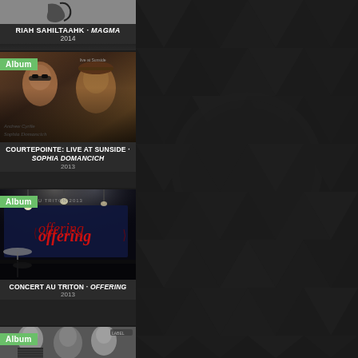[Figure (screenshot): Music album listing app screenshot with dark theme. Shows multiple album cards on left panel with dark geometric pattern background on right.]
RIAH SAHILTAAHK - MAGMA
2014
Album
[Figure (photo): Album cover for Courtepointe: Live at Sunside by Sophia Domancich, showing musicians]
COURTEPOINTE: LIVE AT SUNSIDE - SOPHIA DOMANCICH
2013
Album
[Figure (photo): Album cover for Concert au Triton by Offering, dark stage setting with red cursive Offering logo]
CONCERT AU TRITON - OFFERING
2013
Album
[Figure (photo): Partially visible album cover showing musicians in black and white]